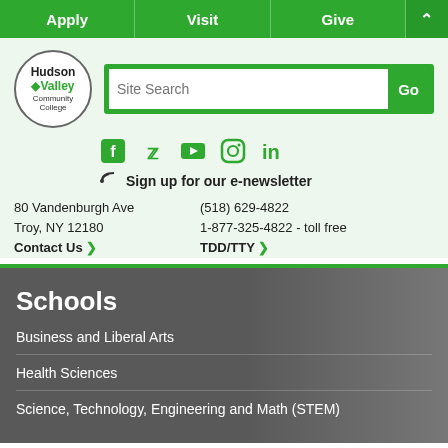Apply | Visit | Give
[Figure (logo): Hudson Valley Community College circular logo]
Site Search [Go]
[Figure (infographic): Social media icons: Facebook, Twitter, YouTube, Instagram, LinkedIn]
Sign up for our e-newsletter
80 Vandenburgh Ave
Troy, NY 12180
(518) 629-4822
1-877-325-4822 - toll free
Contact Us
TDD/TTY
Schools
Business and Liberal Arts
Health Sciences
Science, Technology, Engineering and Math (STEM)